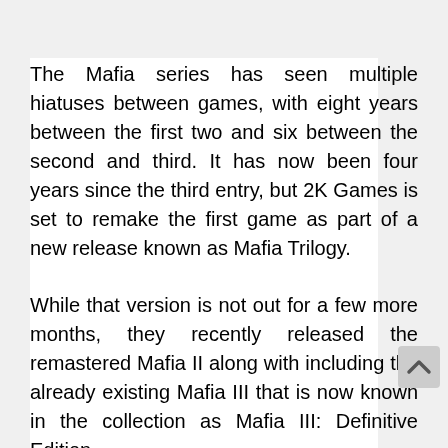The Mafia series has seen multiple hiatuses between games, with eight years between the first two and six between the second and third. It has now been four years since the third entry, but 2K Games is set to remake the first game as part of a new release known as Mafia Trilogy.
While that version is not out for a few more months, they recently released the remastered Mafia II along with including the already existing Mafia III that is now known in the collection as Mafia III: Definitive Edition.
When Mafia III was originally released, there was certainly some controversy about the change in setting. While the prior two games had the traditional Italian mafia akin to Scarface and The Sopranos...